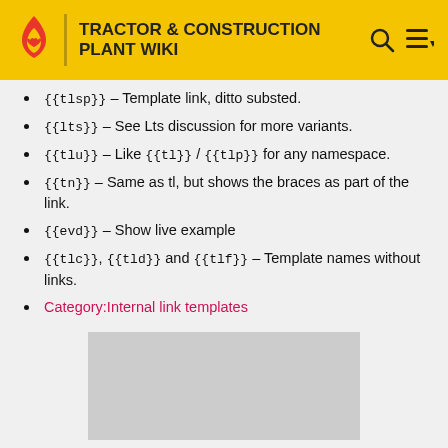TRACTOR & CONSTRUCTION PLANT WIKI
{{tlsp}} – Template link, ditto substed.
{{lts}} – See Lts discussion for more variants.
{{tlu}} – Like {{tl}} / {{tlp}} for any namespace.
{{tn}} – Same as tl, but shows the braces as part of the link.
{{evd}} – Show live example
{{tlc}}, {{tld}} and {{tlf}} – Template names without links.
Category:Internal link templates
[Figure (other): Gray placeholder rectangle at bottom of page]